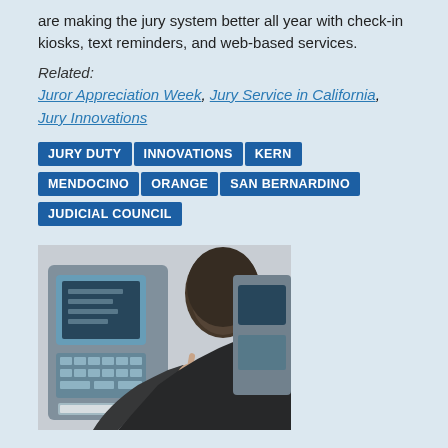are making the jury system better all year with check-in kiosks, text reminders, and web-based services.
Related:
Juror Appreciation Week, Jury Service in California, Jury Innovations
JURY DUTY
INNOVATIONS
KERN
MENDOCINO
ORANGE
SAN BERNARDINO
JUDICIAL COUNCIL
[Figure (photo): Person using a check-in kiosk terminal, pressing a touchscreen while holding papers, another kiosk visible in background]